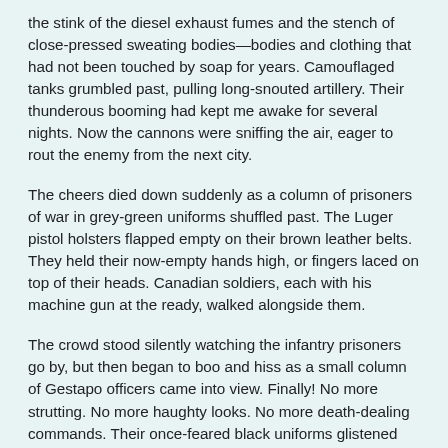the stink of the diesel exhaust fumes and the stench of close-pressed sweating bodies—bodies and clothing that had not been touched by soap for years. Camouflaged tanks grumbled past, pulling long-snouted artillery. Their thunderous booming had kept me awake for several nights. Now the cannons were sniffing the air, eager to rout the enemy from the next city.
The cheers died down suddenly as a column of prisoners of war in grey-green uniforms shuffled past. The Luger pistol holsters flapped empty on their brown leather belts. They held their now-empty hands high, or fingers laced on top of their heads. Canadian soldiers, each with his machine gun at the ready, walked alongside them.
The crowd stood silently watching the infantry prisoners go by, but then began to boo and hiss as a small column of Gestapo officers came into view. Finally! No more strutting. No more haughty looks. No more death-dealing commands. Their once-feared black uniforms glistened with the slime of saliva as people rushed from the sidewalk to spit on them.